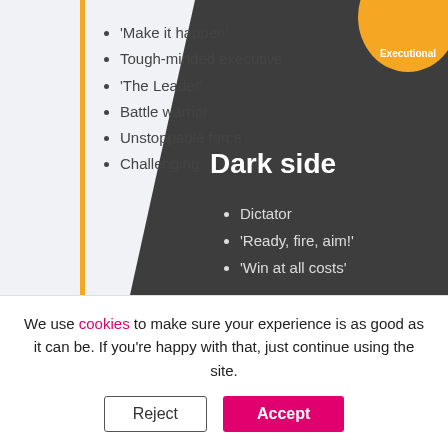[Figure (infographic): Executional leadership archetype card showing light side bullet points and dark side bullet points over a diagonal dark/light background with an orange circle badge labeled 'Executional']
'Make it happen'
Tough-minded executive
'The Leader'
Battle warrior
Unstoppable force
Challenging
Dark side
Dictator
'Ready, fire, aim!'
'Win at all costs'
We use cookies to make sure your experience is as good as it can be. If you're happy with that, just continue using the site.